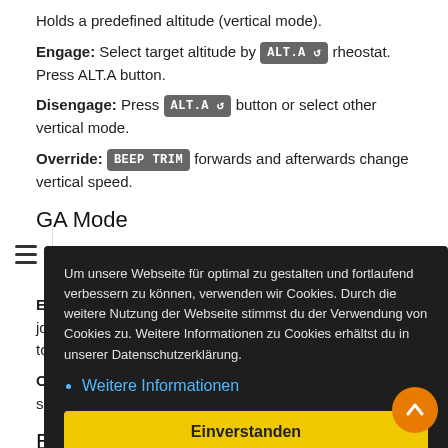Holds a predefined altitude (vertical mode).
Engage: Select target altitude by ALT.A ↺ rheostat. Press ALT.A button.
Disengage: Press ALT.A ↺ button or select other vertical mode.
Override: BEEP TRIM forwards and afterwards change vertical speed.
GA Mode
Go Around Mode is used to abort approach. It will hold a indicated airspeed of 75 kt.
Engage: Press GA button at collective lever (assign the joystick command sim/autopilot/take_off_go_around to a button).
Override: BEEP TRIM ... speed.
BC Mode
Back Course Mode ...
Sling Opera...
Um unsere Webseite für optimal zu gestalten und fortlaufend verbessern zu können, verwenden wir Cookies. Durch die weitere Nutzung der Webseite stimmst du der Verwendung von Cookies zu. Weitere Informationen zu Cookies erhältst du in unserer Datenschutzerklärung.
Weitere Informationen
Einverstanden